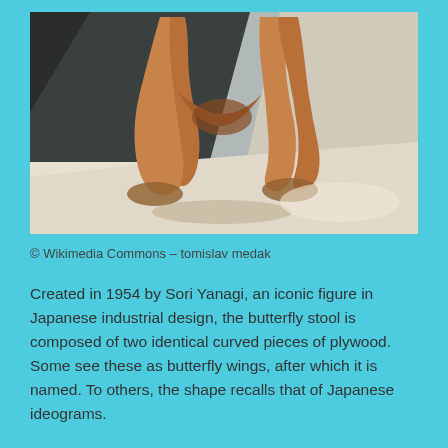[Figure (photo): Close-up photograph of the underside of a Butterfly Stool designed by Sori Yanagi, showing two curved molded plywood legs crossing in an X shape, with warm golden-brown wood tones against a light surface and dark background.]
© Wikimedia Commons – tomislav medak
Created in 1954 by Sori Yanagi, an iconic figure in Japanese industrial design, the butterfly stool is composed of two identical curved pieces of plywood. Some see these as butterfly wings, after which it is named. To others, the shape recalls that of Japanese ideograms.